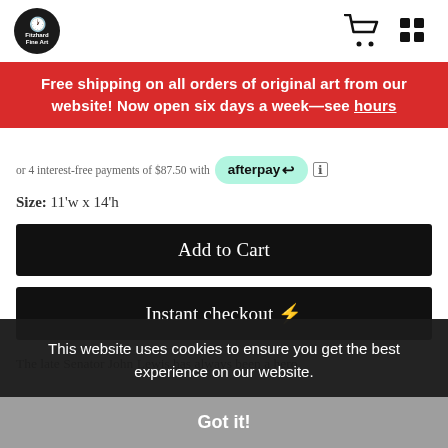Fitzhard Fine Art logo, cart icon, menu icon
Free shipping on all orders of original art from our website! Now open six days a week—see hours
or 4 interest-free payments of $87.50 with afterpay
Size: 11'w x 14'h
Add to Cart
Instant checkout ⚡
The late Senator John Lewis has always been a hero.
This website uses cookies to ensure you get the best experience on our website.
Got it!